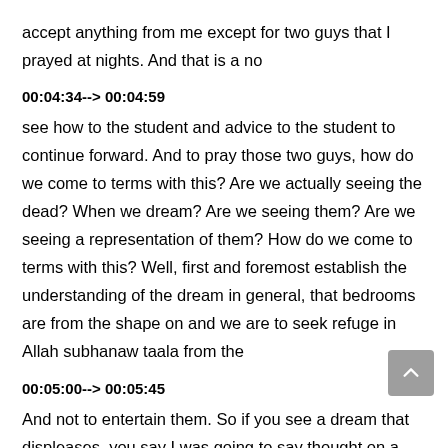accept anything from me except for two guys that I prayed at nights. And that is a no
00:04:34--> 00:04:59
see how to the student and advice to the student to continue forward. And to pray those two guys, how do we come to terms with this? Are we actually seeing the dead? When we dream? Are we seeing them? Are we seeing a representation of them? How do we come to terms with this? Well, first and foremost establish the understanding of the dream in general, that bedrooms are from the shape on and we are to seek refuge in Allah subhanaw taala from the
00:05:00--> 00:05:45
And not to entertain them. So if you see a dream that displeases, you say I was going to say thought on a gene, seek refuge in Allah and